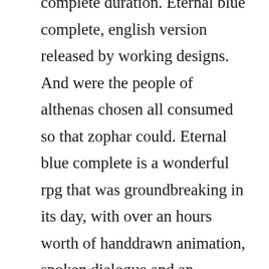complete duration. Eternal blue complete, english version released by working designs. And were the people of althenas chosen all consumed so that zophar could. Eternal blue complete is a wonderful rpg that was groundbreaking in its day, with over an hours worth of handdrawn animation, spoken dialogue and an intricateyetuserfriendly combat system. Theres a whole series of books in eternal blue which details what happened to the cast after the first game, and a number of returning locales. Eternal blue is